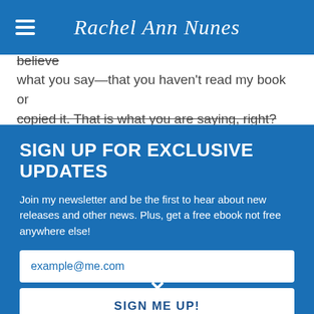Rachel Ann Nunes
infringement is a big deal, but I'm trying to believe what you say—that you haven't read my book or copied it. That is what you are saying, right? I'm
SIGN UP FOR EXCLUSIVE UPDATES
Join my newsletter and be the first to hear about new releases and other news. Plus, get a free ebook not free anywhere else!
example@me.com
SIGN ME UP!
✕